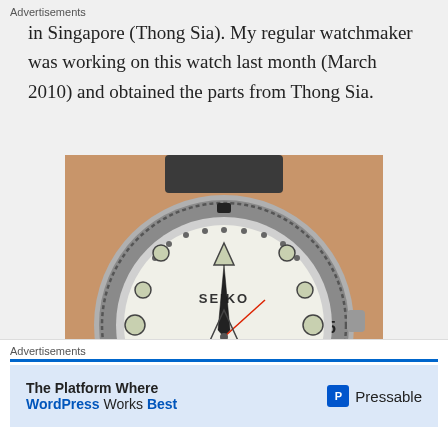in Singapore (Thong Sia). My regular watchmaker was working on this watch last month (March 2010) and obtained the parts from Thong Sia.
[Figure (photo): Close-up photo of a Seiko Perpetual Calendar diver's watch with a white dial showing luminous markers, sword hands, and the text 'SEIKO', 'PERPETUAL', 'HR CAL-04...' and 'DIVER'S 200...'. The watch has a stainless steel bezel with markings and is being held by hand. A Photobucket watermark is visible.]
Advertisements
The Platform Where WordPress Works Best  Pressable